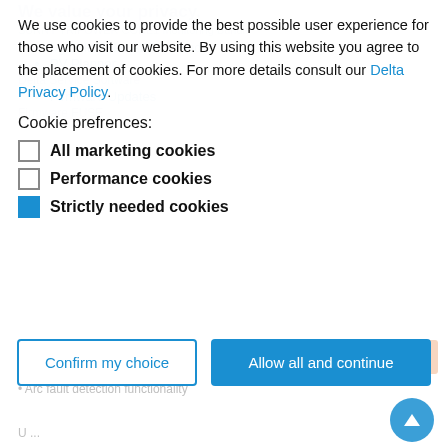We value your privacy.
We use cookies to provide the best possible user experience for those who visit our website. By using this website you agree to the placement of cookies. For more details consult our Delta Privacy Policy.
MyDeltaSolar APP / Cloud
PV Planner
Cookie prefrences:
Firmware Updates
All marketing cookies
Performance cookies
Strictly needed cookies
Confirm my choice
Allow all and continue